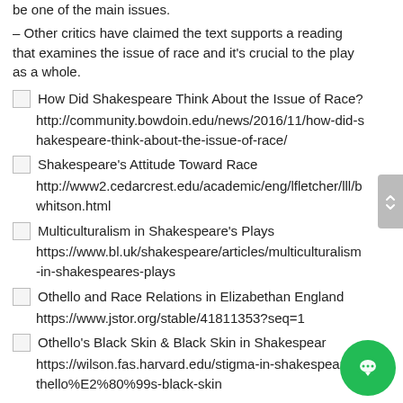be one of the main issues.
– Other critics have claimed the text supports a reading that examines the issue of race and it's crucial to the play as a whole.
How Did Shakespeare Think About the Issue of Race?
http://community.bowdoin.edu/news/2016/11/how-did-shakespeare-think-about-the-issue-of-race/
Shakespeare's Attitude Toward Race
http://www2.cedarcrest.edu/academic/eng/lfletcher/lll/bwhitson.html
Multiculturalism in Shakespeare's Plays
https://www.bl.uk/shakespeare/articles/multiculturalism-in-shakespeares-plays
Othello and Race Relations in Elizabethan England
https://www.jstor.org/stable/41811353?seq=1
Othello's Black Skin & Black Skin in Shakespeare
https://wilson.fas.harvard.edu/stigma-in-shakespeare/othello%E2%80%99s-black-skin